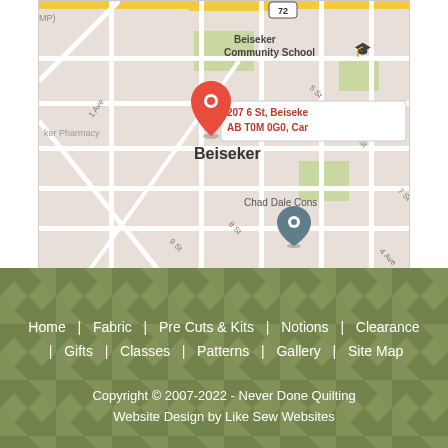[Figure (map): Google Maps showing 207 6 St, Beiseker, AB T0M 0G0, Canada with a red location pin and nearby landmarks including Beiseker Community School, Beiseker Pharmacy, and Chad Dale Construction.]
Home | Fabric | Pre Cuts & Kits | Notions | Clearance | Gifts | Classes | Patterns | Gallery | Site Map
Copyright © 2007-2022 - Never Done Quilting
Website Design by Like Sew Websites